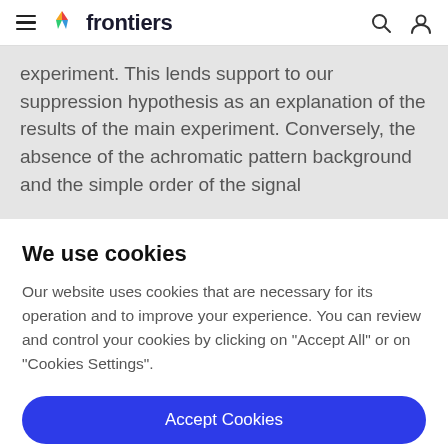frontiers
experiment. This lends support to our suppression hypothesis as an explanation of the results of the main experiment. Conversely, the absence of the achromatic pattern background and the simple order of the signal
We use cookies
Our website uses cookies that are necessary for its operation and to improve your experience. You can review and control your cookies by clicking on "Accept All" or on "Cookies Settings".
Accept Cookies
Cookies Settings